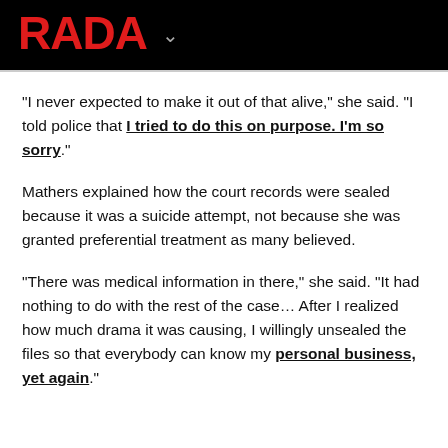RADAR
"I never expected to make it out of that alive," she said. "I told police that I tried to do this on purpose. I'm so sorry."
Mathers explained how the court records were sealed because it was a suicide attempt, not because she was granted preferential treatment as many believed.
"There was medical information in there," she said. "It had nothing to do with the rest of the case… After I realized how much drama it was causing, I willingly unsealed the files so that everybody can know my personal business, yet again."